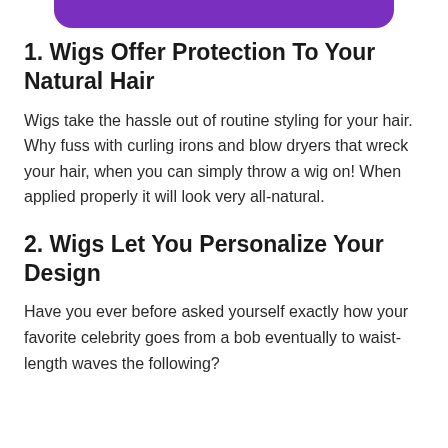[Figure (other): Purple rounded banner/button at top of page]
1. Wigs Offer Protection To Your Natural Hair
Wigs take the hassle out of routine styling for your hair. Why fuss with curling irons and blow dryers that wreck your hair, when you can simply throw a wig on! When applied properly it will look very all-natural.
2. Wigs Let You Personalize Your Design
Have you ever before asked yourself exactly how your favorite celebrity goes from a bob eventually to waist-length waves the following?